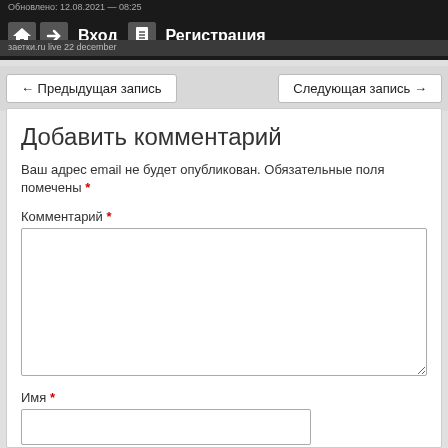Обновлено: 12.08.2021 — 08:25
Вход  Регистрация
заетки.ru live 22 december
← Предыдущая запись
Следующая запись →
Добавить комментарий
Ваш адрес email не будет опубликован. Обязательные поля помечены *
Комментарий *
Имя *
Email *
Сайт